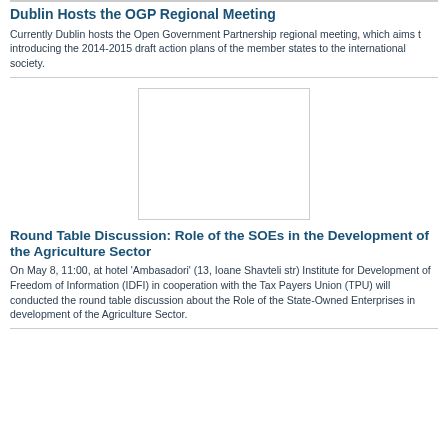Dublin Hosts the OGP Regional Meeting
Currently Dublin hosts the Open Government Partnership regional meeting, which aims t introducing the 2014-2015 draft action plans of the member states to the international society.
[Figure (photo): Image placeholder box (empty white rectangle with border)]
Round Table Discussion: Role of the SOEs in the Development of the Agriculture Sector
On May 8, 11:00, at hotel 'Ambasadori' (13, Ioane Shavteli str) Institute for Development of Freedom of Information (IDFI) in cooperation with the Tax Payers Union (TPU) will conducted the round table discussion about the Role of the State-Owned Enterprises in development of the Agriculture Sector.